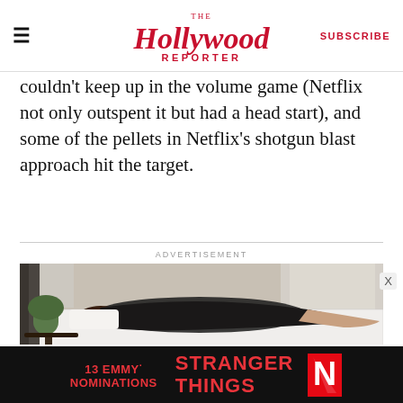The Hollywood Reporter | SUBSCRIBE
couldn't keep up in the volume game (Netflix not only outspent it but had a head start), and some of the pellets in Netflix's shotgun blast approach hit the target.
[Figure (photo): Advertisement photo showing a woman lying on a mattress in a bedroom setting with a plant on a side table nearby]
[Figure (photo): Stranger Things Netflix banner ad: '13 EMMY NOMINATIONS' in red bold text and 'STRANGER THINGS' logo with Netflix N logo on black background]